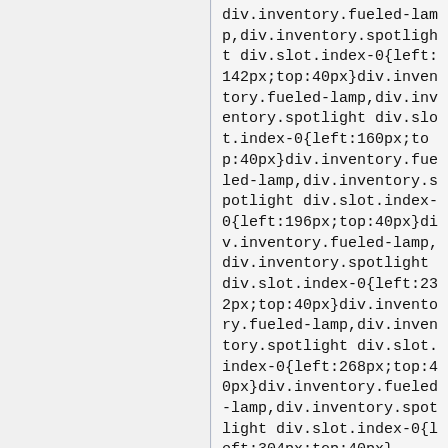div.inventory.fueled-lamp,div.inventory.spotlight div.slot.index-0{left:142px;top:40px}div.inventory.fueled-lamp,div.inventory.spotlight div.slot.index-0{left:160px;top:40px}div.inventory.fueled-lamp,div.inventory.spotlight div.slot.index-0{left:196px;top:40px}div.inventory.fueled-lamp,div.inventory.spotlight div.slot.index-0{left:232px;top:40px}div.inventory.fueled-lamp,div.inventory.spotlight div.slot.index-0{left:268px;top:40px}div.inventory.fueled-lamp,div.inventory.spotlight div.slot.index-0{left:304px;top:40px}